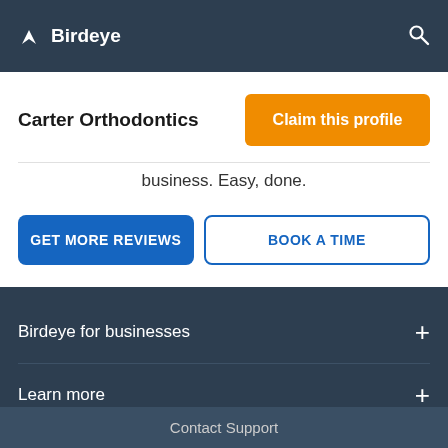Birdeye
Carter Orthodontics
Claim this profile
business. Easy, done.
GET MORE REVIEWS
BOOK A TIME
Birdeye for businesses
Learn more
Contact Support